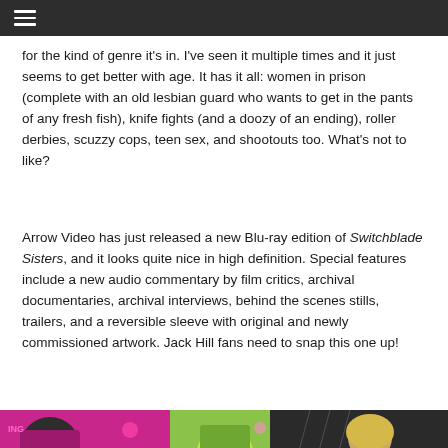☰
for the kind of genre it's in. I've seen it multiple times and it just seems to get better with age. It has it all: women in prison (complete with an old lesbian guard who wants to get in the pants of any fresh fish), knife fights (and a doozy of an ending), roller derbies, scuzzy cops, teen sex, and shootouts too. What's not to like?
Arrow Video has just released a new Blu-ray edition of Switchblade Sisters, and it looks quite nice in high definition. Special features include a new audio commentary by film critics, archival documentaries, archival interviews, behind the scenes stills, trailers, and a reversible sleeve with original and newly commissioned artwork. Jack Hill fans need to snap this one up!
[Figure (illustration): Colorful comic-book style illustration showing female characters in pink, green, and yellow tones, depicting scenes from Switchblade Sisters]